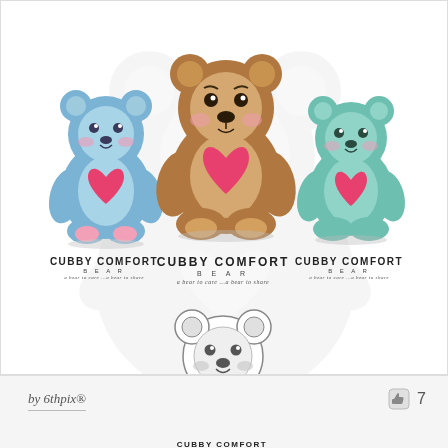[Figure (logo): Four color variants of the Cubby Comfort Bear logo: a blue bear, a brown bear (center, larger), a teal/mint bear, and a grayscale bear. Each shows a cute cartoon teddy bear holding a pink/red heart, with text 'CUBBY COMFORT BEAR a bear to care ...a bear to share'. A large ghost/watermark bear silhouette appears in the background.]
by 6thpix®
7